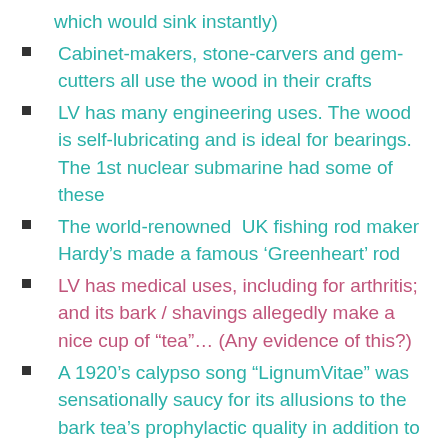which would sink instantly)
Cabinet-makers, stone-carvers and gem-cutters all use the wood in their crafts
LV has many engineering uses. The wood is self-lubricating and is ideal for bearings. The 1st nuclear submarine had some of these
The world-renowned  UK fishing rod maker Hardy’s made a famous ‘Greenheart’ rod
LV has medical uses, including for arthritis; and its bark / shavings allegedly make a nice cup of “tea”… (Any evidence of this?)
A 1920’s calypso song “LignumVitae” was sensationally saucy for its allusions to the bark tea’s prophylactic quality in addition to exploiting the phallic connotations
Gabriel Garcia Márquez incorporates uses for the